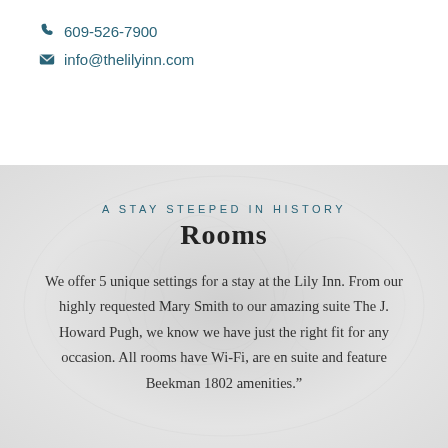609-526-7900
info@thelilyinn.com
A STAY STEEPED IN HISTORY
Rooms
We offer 5 unique settings for a stay at the Lily Inn. From our highly requested Mary Smith to our amazing suite The J. Howard Pugh, we know we have just the right fit for any occasion. All rooms have Wi-Fi, are en suite and feature Beekman 1802 amenities.”